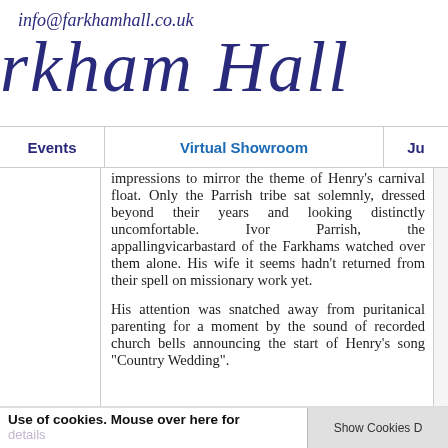info@farkhamhall.co.uk
rkham Hall
Events | Virtual Showroom | Ju
impressions to mirror the theme of Henry's carnival float. Only the Parrish tribe sat solemnly, dressed beyond their years and looking distinctly uncomfortable. Ivor Parrish, the appallingvicarbastard of the Farkhams watched over them alone. His wife it seems hadn't returned from their spell on missionary work yet.
His attention was snatched away from puritanical parenting for a moment by the sound of recorded church bells announcing the start of Henry's song "Country Wedding".
Use of cookies. Mouse over here for details
Show Cookies D